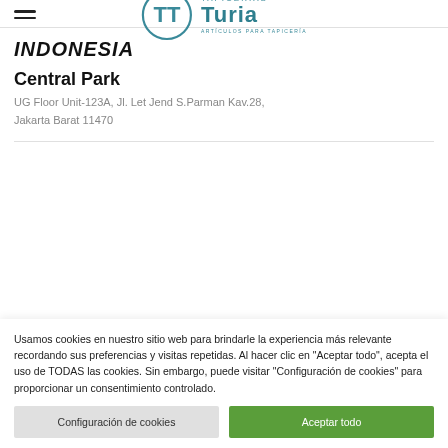Tapicerías Turia — ARTÍCULOS PARA TAPICERÍA
INDONESIA
Central Park
UG Floor Unit-123A, Jl. Let Jend S.Parman Kav.28, Jakarta Barat 11470
Usamos cookies en nuestro sitio web para brindarle la experiencia más relevante recordando sus preferencias y visitas repetidas. Al hacer clic en "Aceptar todo", acepta el uso de TODAS las cookies. Sin embargo, puede visitar "Configuración de cookies" para proporcionar un consentimiento controlado.
Configuración de cookies | Aceptar todo